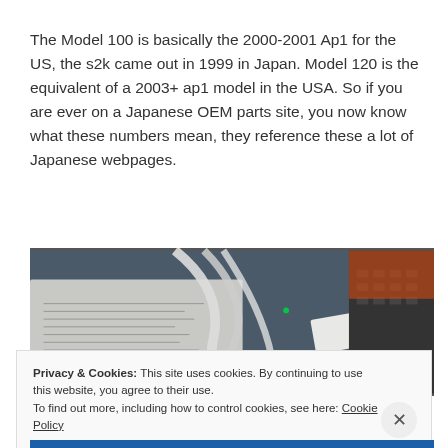The Model 100 is basically the 2000-2001 Ap1 for the US, the s2k came out in 1999 in Japan. Model 120 is the equivalent of a 2003+ ap1 model in the USA. So if you are ever on a Japanese OEM parts site, you now know what these numbers mean, they reference these a lot of Japanese webpages.
[Figure (photo): Close-up photo of an open book or manual with Japanese text, white cables, and a laptop keyboard in the background with an orange glow.]
Privacy & Cookies: This site uses cookies. By continuing to use this website, you agree to their use.
To find out more, including how to control cookies, see here: Cookie Policy
[Close and accept button]